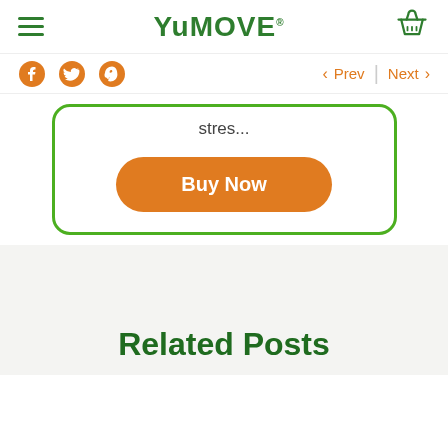YuMOVE
stres...
Buy Now
Related Posts